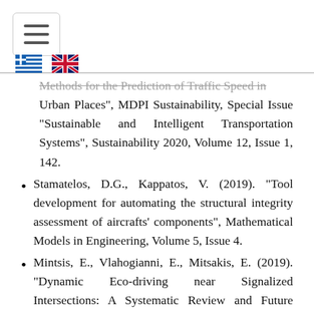[Navigation header with hamburger menu and language flags (Greek, English)]
Urban Places", MDPI Sustainability, Special Issue "Sustainable and Intelligent Transportation Systems", Sustainability 2020, Volume 12, Issue 1, 142.
Stamatelos, D.G., Kappatos, V. (2019). "Tool development for automating the structural integrity assessment of aircrafts' components", Mathematical Models in Engineering, Volume 5, Issue 4.
Mintsis, E., Vlahogianni, E., Mitsakis, E. (2019). "Dynamic Eco-driving near Signalized Intersections: A Systematic Review and Future Research Directions", Journal of Transportation Engineering, Part A: Syst...